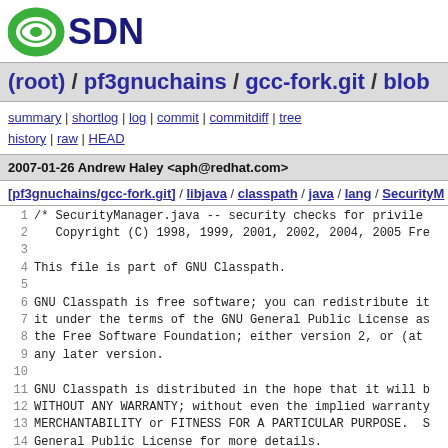[Figure (logo): OSDN logo — green circle icon with 'SDN' in dark blue bold text]
(root) / pf3gnuchains / gcc-fork.git / blob
summary | shortlog | log | commit | commitdiff | tree
history | raw | HEAD
2007-01-26 Andrew Haley <aph@redhat.com>
[pf3gnuchains/gcc-fork.git] / libjava / classpath / java / lang / SecurityM
1  /* SecurityManager.java -- security checks for privile
2     Copyright (C) 1998, 1999, 2001, 2002, 2004, 2005 Fre
3
4  This file is part of GNU Classpath.
5
6  GNU Classpath is free software; you can redistribute it
7  it under the terms of the GNU General Public License as
8  the Free Software Foundation; either version 2, or (at
9  any later version.
10
11  GNU Classpath is distributed in the hope that it will b
12  WITHOUT ANY WARRANTY; without even the implied warranty
13  MERCHANTABILITY or FITNESS FOR A PARTICULAR PURPOSE.  S
14  General Public License for more details.
15
16  You should have received a copy of the GNU General Publ
17  along with GNU Classpath; see the file COPYING.  If not
18  Free Software Foundation, Inc., 51 Franklin Street, Fif